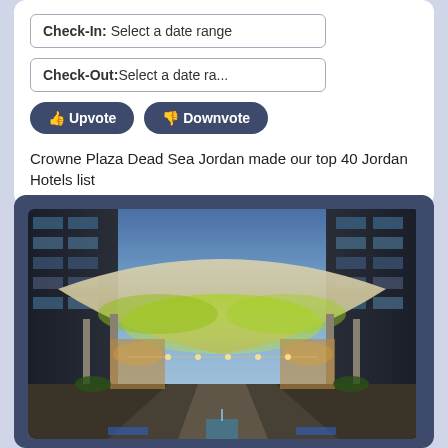Check-In: Select a date range
Check-Out: Select a date ra...
Upvote
Downvote
Crowne Plaza Dead Sea Jordan made our top 40 Jordan Hotels list
[Figure (photo): Night-time photograph of Crowne Plaza Dead Sea Jordan hotel courtyard with illuminated tensile canopy structure in green and yellow lighting, flanked by modern glass buildings, with walkway and water feature below]